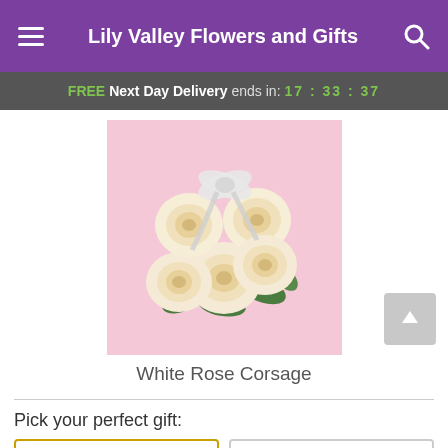Lily Valley Flowers and Gifts
FREE Next Day Delivery ends in: 17:33:37
[Figure (photo): White Rose Corsage - a bouquet of cream/white roses with baby's breath and green leaves on a pink background, with a white satin ribbon bow.]
White Rose Corsage
Pick your perfect gift: